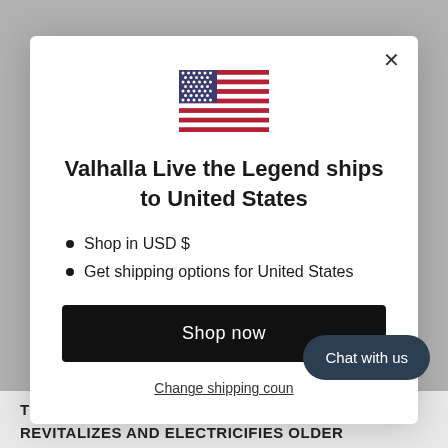[Figure (illustration): US flag icon centered above the modal title]
Valhalla Live the Legend ships to United States
Shop in USD $
Get shipping options for United States
Shop now
Change shipping coun…
Chat with us
TREAT YOUR TATTOOS WITH CARE. REVITALIZES AND ELECTRICIFIES OLDER